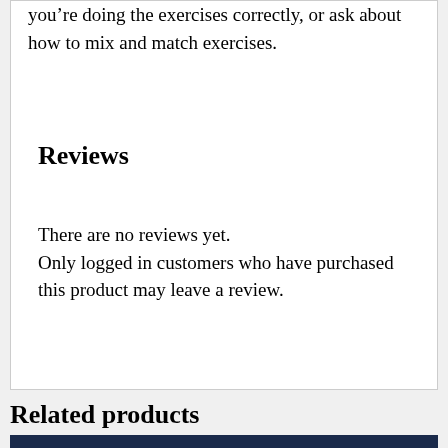you’re doing the exercises correctly, or ask about how to mix and match exercises.
Reviews
There are no reviews yet.
Only logged in customers who have purchased this product may leave a review.
Related products